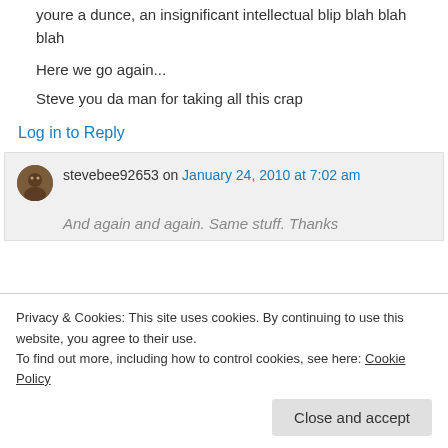youre a dunce, an insignificant intellectual blip blah blah blah
Here we go again...
Steve you da man for taking all this crap
Log in to Reply
stevebee92653 on January 24, 2010 at 7:02 am
And again and again. Same stuff. Thanks...
Privacy & Cookies: This site uses cookies. By continuing to use this website, you agree to their use.
To find out more, including how to control cookies, see here: Cookie Policy